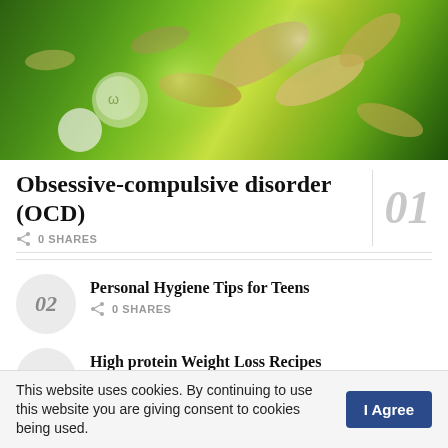[Figure (photo): Close-up photo of various supplement/vitamin pills and capsules on a green background]
Obsessive-compulsive disorder (OCD)
0 SHARES
Personal Hygiene Tips for Teens — 0 SHARES
High protein Weight Loss Recipes — 0 SHARES
This website uses cookies. By continuing to use this website you are giving consent to cookies being used. I Agree